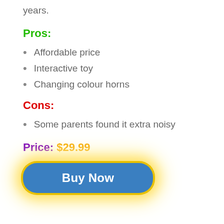years.
Pros:
Affordable price
Interactive toy
Changing colour horns
Cons:
Some parents found it extra noisy
Price: $29.99
Buy Now